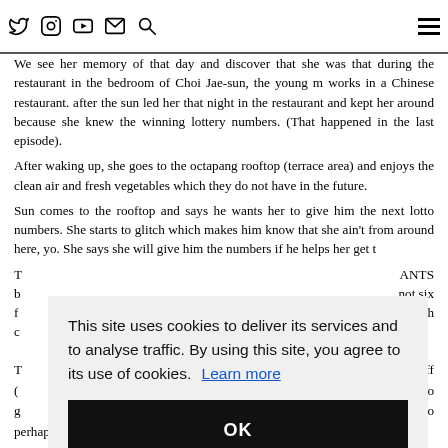Navigation bar with social icons (Twitter, Instagram, YouTube, Email, Search) and hamburger menu
We see her memory of that day and discover that she was that during the restaurant in the bedroom of Choi Jae-sun, the young m works in a Chinese restaurant. after the sun fed her that night in the restaurant and kept her around because she knew the winning lottery numbers. (That happened in the last episode).
After waking up, she goes to the octapang rooftop (terrace area) and enjoys the clean air and fresh vegetables which they do not have in the future.
Sun comes to the rooftop and says he wants her to give him the next lotto numbers. She starts to glitch which makes him know that she ain't from around here, yo. She says she will give him the numbers if he helps her get t
T ANTS b not six f much c
[Figure (screenshot): Cookie consent overlay dialog with text 'This site uses cookies to deliver its services and to analyse traffic. By using this site, you agree to its use of cookies. Learn more' and an OK button]
T em off ( ftop to g ng, so perhaps the radiation of time travel did something to her body.